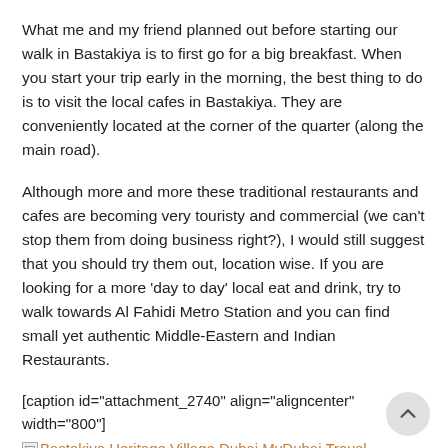What me and my friend planned out before starting our walk in Bastakiya is to first go for a big breakfast. When you start your trip early in the morning, the best thing to do is to visit the local cafes in Bastakiya. They are conveniently located at the corner of the quarter (along the main road).
Although more and more these traditional restaurants and cafes are becoming very touristy and commercial (we can't stop them from doing business right?), I would still suggest that you should try them out, location wise. If you are looking for a more 'day to day' local eat and drink, try to walk towards Al Fahidi Metro Station and you can find small yet authentic Middle-Eastern and Indian Restaurants.
[caption id="attachment_2740" align="aligncenter" width="800"]
Bastakiya Heritage Village Dubai MyDubai Travel Wanderlust Travel Bug UAE Trip Tour food Local House Arabian Teahouse